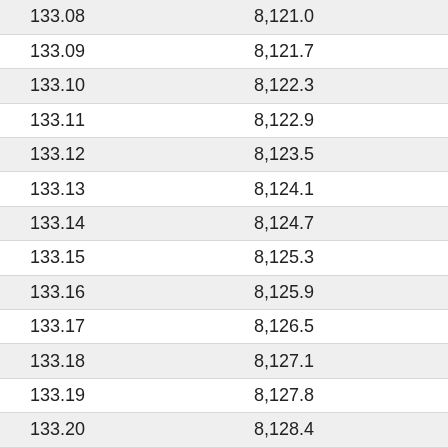| 133.08 | 8,121.0 |
| 133.09 | 8,121.7 |
| 133.10 | 8,122.3 |
| 133.11 | 8,122.9 |
| 133.12 | 8,123.5 |
| 133.13 | 8,124.1 |
| 133.14 | 8,124.7 |
| 133.15 | 8,125.3 |
| 133.16 | 8,125.9 |
| 133.17 | 8,126.5 |
| 133.18 | 8,127.1 |
| 133.19 | 8,127.8 |
| 133.20 | 8,128.4 |